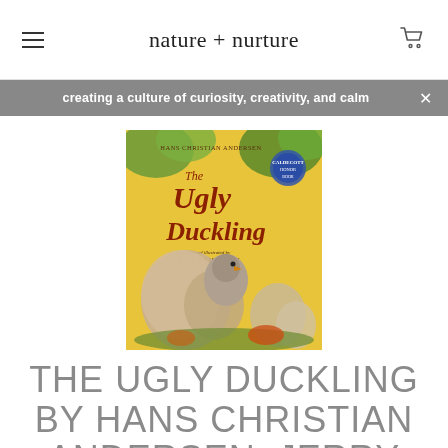nature + nurture
creating a culture of curiosity, creativity, and calm
[Figure (illustration): Book cover of 'The Ugly Duckling' by Hans Christian Andersen, adapted and illustrated by Jerry Pinkney. Yellow background with illustration of a duckling hatching from an egg surrounded by other eggs and foliage.]
THE UGLY DUCKLING BY HANS CHRISTIAN ANDERSEN, JERRY